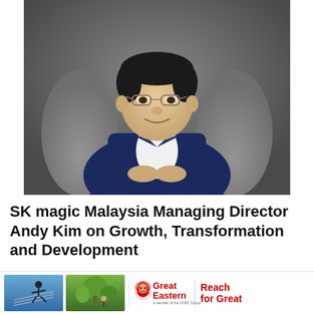[Figure (photo): Professional photo of Andy Kim, a man wearing glasses and a navy blue blazer, seated in a grey armchair against a dark grey background, hands clasped together, smiling.]
SK magic Malaysia Managing Director Andy Kim on Growth, Transformation and Development
Back in April 2022, SK magic Malaysia identified a new leader, Andy Kim. Kim brings close to 20 years of experience within the rental, servicing
[Figure (photo): Advertisement banner: two small thumbnail photos (person leaping with solar panels, and a person in a garden) alongside the Great Eastern logo and 'Reach for Great' tagline.]